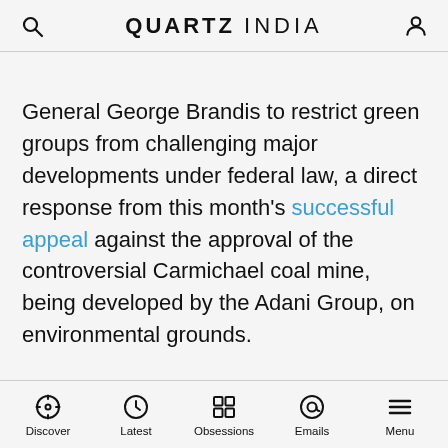QUARTZ INDIA
General George Brandis to restrict green groups from challenging major developments under federal law, a direct response from this month's successful appeal against the approval of the controversial Carmichael coal mine, being developed by the Adani Group, on environmental grounds.
Discover | Latest | Obsessions | Emails | Menu